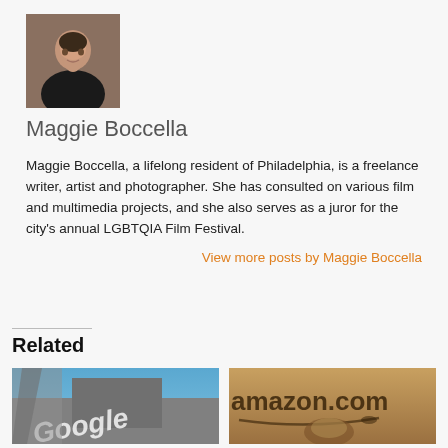[Figure (photo): Profile photo of Maggie Boccella, a woman smiling, close-up portrait]
Maggie Boccella
Maggie Boccella, a lifelong resident of Philadelphia, is a freelance writer, artist and photographer. She has consulted on various film and multimedia projects, and she also serves as a juror for the city's annual LGBTQIA Film Festival.
View more posts by Maggie Boccella
Related
[Figure (photo): Google sign on a building against a blue sky]
[Figure (photo): Amazon.com sign/logo on a wall with a person visible below]